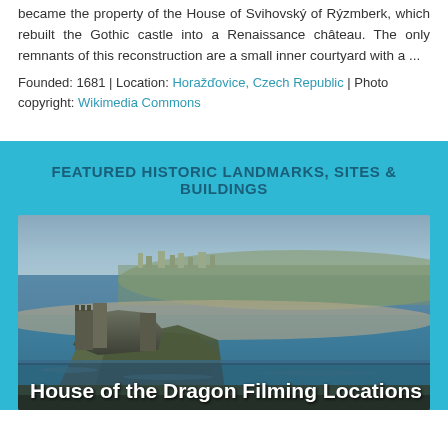became the property of the House of Svihovský of Rýzmberk, which rebuilt the Gothic castle into a Renaissance château. The only remnants of this reconstruction are a small inner courtyard with a ...
Founded: 1681 | Location: Horažďovice, Czech Republic | Photo copyright: Wikimedia Commons
FEATURED HISTORIC LANDMARKS, SITES & BUILDINGS
[Figure (photo): Aerial photograph of a coastal castle or fortress on a rocky promontory with a bay and town in the background, with the overlay title 'House of the Dragon Filming Locations']